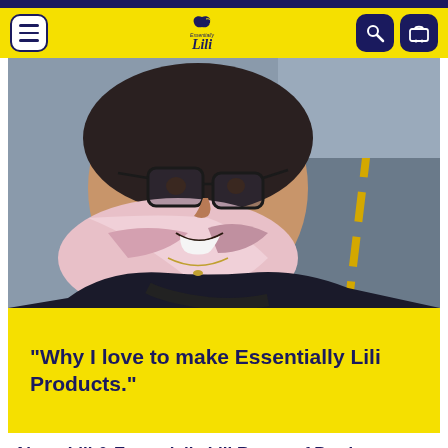Essentially Lili - navigation header with menu, logo, search, and cart buttons
[Figure (photo): A smiling woman wearing glasses, a colorful pink and white scarf, and a dark top, taking a selfie outdoors near a road or parking lot.]
“Why I love to make Essentially Lili Products.”
About Lili & Essentially Lili Range of Products: